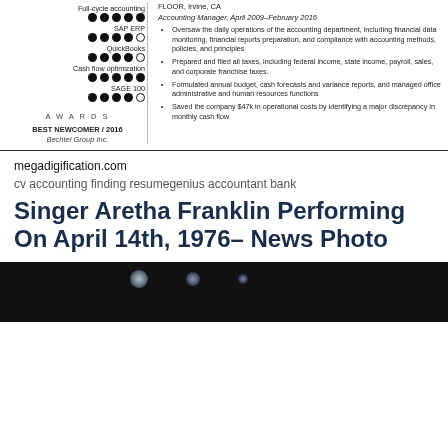Full-cycle accounting
SAP ERP
QuickBooks
Cash flow optimization
SAGE 100
AWARDS
BEST NEWCOMER / 2016
Bechtel Group Inc.
FLOOR, Irvine, CA
Accounting Manager, April 2009–February 2016
Oversaw the daily operations of the accounting department, including financial data monitoring, financial reports preparation, and compliance with accounting methods, policies, and principles
Prepared and filed all taxes, including federal income, state income, payroll, sales, and corporate franchise taxes.
Formulated annual budget, cash forecasts and variance reports, and managed office administrative and human resources functions
Saved the company $47k in operational costs by identifying a major discrepancy in monthly cash flow
megadigification.com
cv accounting finding resumegenius accountant bank
Singer Aretha Franklin Performing On April 14th, 1976– News Photo
[Figure (photo): Dark photograph, likely a stage or concert scene with bright light orbs visible against a very dark background, partially visible at bottom of page]